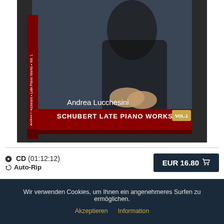[Figure (photo): CD product image: Andrea Lucchesini - Schubert Late Piano Works Vol. 1, showing a person in dark clothing on the cover with a red banner at the bottom]
CD (01:12:12)
Auto-Rip
EUR 16.80
Wir verwenden Cookies, um Ihnen ein angenehmeres Surfen zu ermöglichen.
Akzeptieren  Information